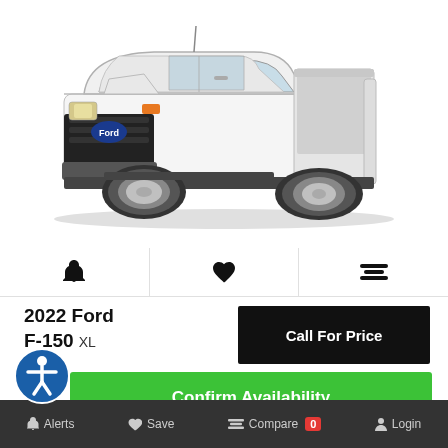[Figure (photo): White 2022 Ford F-150 XL pickup truck, front three-quarter view on white background]
🔔 ♥ ⇄ (icon bar: alerts, save, compare)
2022 Ford F-150 XL
Call For Price
Confirm Availability
Alerts  Save  Compare 0  Login